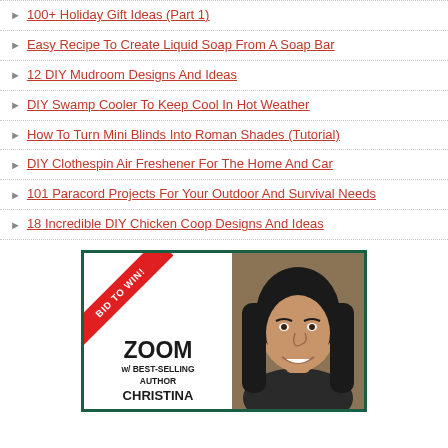100+ Holiday Gift Ideas (Part 1)
Easy Recipe To Create Liquid Soap From A Soap Bar
12 DIY Mudroom Designs And Ideas
DIY Swamp Cooler To Keep Cool In Hot Weather
How To Turn Mini Blinds Into Roman Shades (Tutorial)
DIY Clothespin Air Freshener For The Home And Car
101 Paracord Projects For Your Outdoor And Survival Needs
18 Incredible DIY Chicken Coop Designs And Ideas
[Figure (illustration): Promotional banner with 'BID TO WIN!' ribbon on a red diagonal banner, text 'ZOOM w/ BEST-SELLING AUTHOR CHRISTINA' with a photo of a smiling woman with dark hair on the right side, framed in dark green border.]